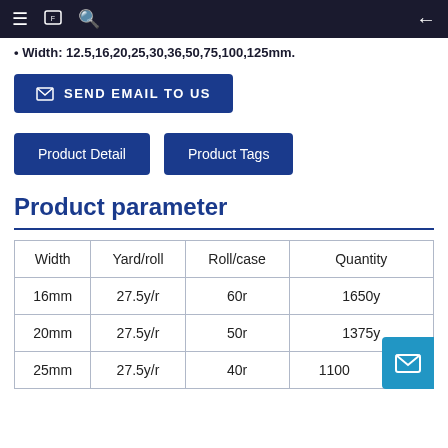≡ [icon] 🔍  ←
Width: 12.5,16,20,25,30,36,50,75,100,125mm.
SEND EMAIL TO US
Product Detail   Product Tags
Product parameter
| Width | Yard/roll | Roll/case | Quantity |
| --- | --- | --- | --- |
| 16mm | 27.5y/r | 60r | 1650y |
| 20mm | 27.5y/r | 50r | 1375y |
| 25mm | 27.5y/r | 40r | 1100 |